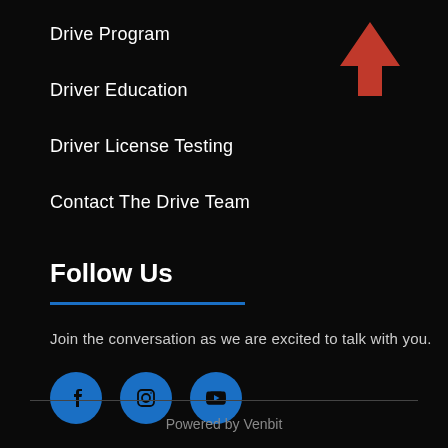Drive Program
Driver Education
Driver License Testing
Contact The Drive Team
[Figure (illustration): Red upward pointing arrow icon on black background]
Follow Us
Join the conversation as we are excited to talk with you.
[Figure (illustration): Social media icons: Facebook, Instagram, YouTube in blue circles]
Powered by Venbit